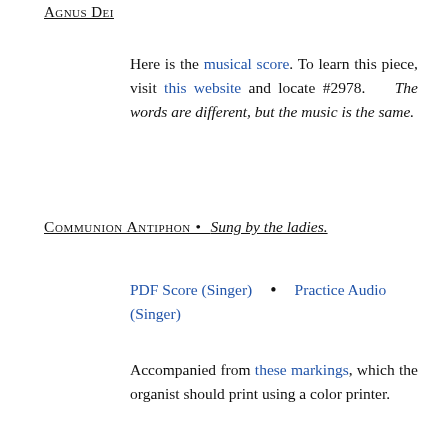Agnus Dei
Here is the musical score. To learn this piece, visit this website and locate #2978.   The words are different, but the music is the same.
Communion Antiphon  •  Sung by the ladies.
PDF Score (Singer)   •   Practice Audio (Singer)
Accompanied from these markings, which the organist should print using a color printer.